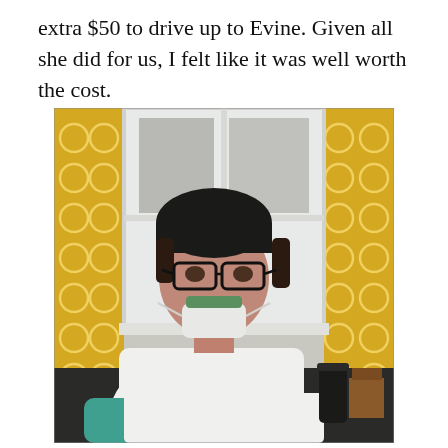extra $50 to drive up to Evine. Given all she did for us, I felt like it was well worth the cost.
[Figure (photo): A person wearing glasses and a dark beanie hat, dressed in a white medical coat or shirt with a surgical mask pulled down around their neck. They are seated and looking over their shoulder toward the camera with a slight smile. Behind them is a window with yellow patterned curtains and a view of a building outside. Kitchen items are visible in the background.]